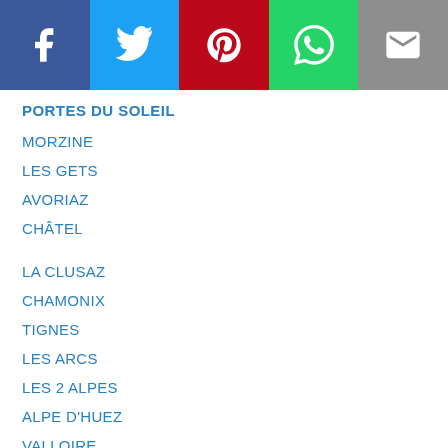[Figure (other): Social sharing bar with Facebook, Twitter, Pinterest, WhatsApp, and Email buttons]
PORTES DU SOLEIL
MORZINE
LES GETS
AVORIAZ
CHÂTEL
LA CLUSAZ
CHAMONIX
TIGNES
LES ARCS
LES 2 ALPES
ALPE D'HUEZ
VALLOIRE
VAL D'ALLOS
PRA LOUP